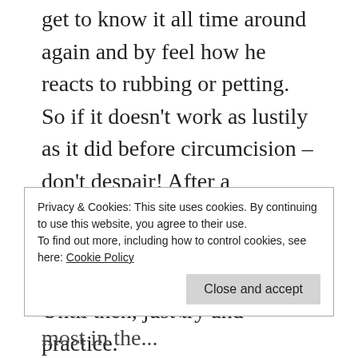get to know it all time around again and by feel how he reacts to rubbing or petting. So if it doesn't work as lustily as it did before circumcision – don't despair! After a circumcision surgery, it may take a few months for you to get used to the new situation. Until then, just try and practice.
Girls masturbate with their fingers in their vagina!
It does not work that way! Sure, you can do that. But if you want to reach orgasm, it doesn't work that way.
Where the orgasm comes from:
Privacy & Cookies: This site uses cookies. By continuing to use this website, you agree to their use.
To find out more, including how to control cookies, see here: Cookie Policy
Close and accept
... it (the clitoris). And that is most in the...